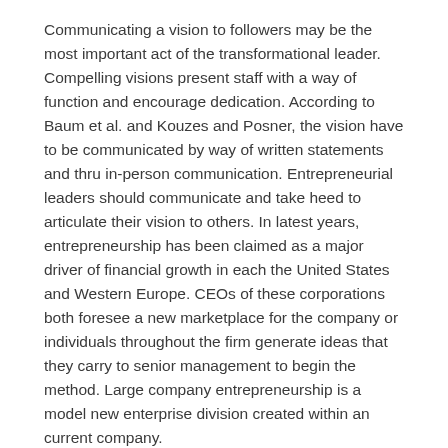Communicating a vision to followers may be the most important act of the transformational leader. Compelling visions present staff with a way of function and encourage dedication. According to Baum et al. and Kouzes and Posner, the vision have to be communicated by way of written statements and thru in-person communication. Entrepreneurial leaders should communicate and take heed to articulate their vision to others. In latest years, entrepreneurship has been claimed as a major driver of financial growth in each the United States and Western Europe. CEOs of these corporations both foresee a new marketplace for the company or individuals throughout the firm generate ideas that they carry to senior management to begin the method. Large company entrepreneurship is a model new enterprise division created within an current company.
What's An Entrepreneur?